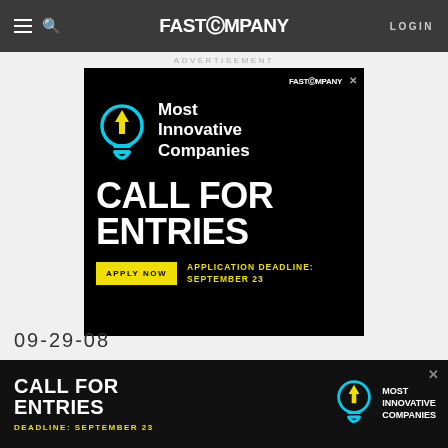FAST COMPANY
ADVERTISEMENT
[Figure (infographic): Fast Company Most Innovative Companies - Call for Entries advertisement banner. Black background with cyan lightbulb icon with yellow arrow. Text: Most Innovative Companies, CALL FOR ENTRIES. Yellow button: APPLY NOW. Yellow text: APPLICATION DEADLINE: SEPTEMBER 23]
09-29-08
[Figure (infographic): Bottom banner ad: CALL FOR ENTRIES - Most Innovative Companies. DEADLINE: SEPTEMBER 23. Lightbulb icon on right.]